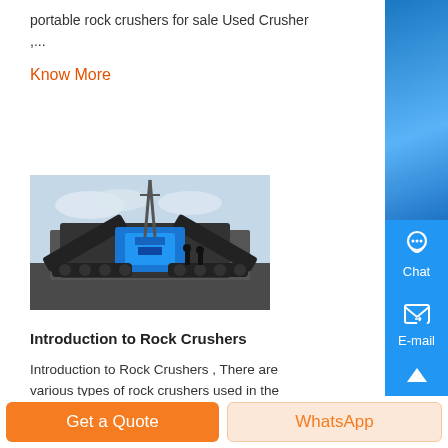portable rock crushers for sale Used Crusher ,...
Know More
[Figure (photo): A large portable rock crusher machine on a job site, mounted on tracks with conveyor belts and blue mechanical parts.]
Introduction to Rock Crushers
Introduction to Rock Crushers , There are various types of rock crushers used in the aggregate industry including impact and ro crushers, ....
Know More
Get a Quote
WhatsApp